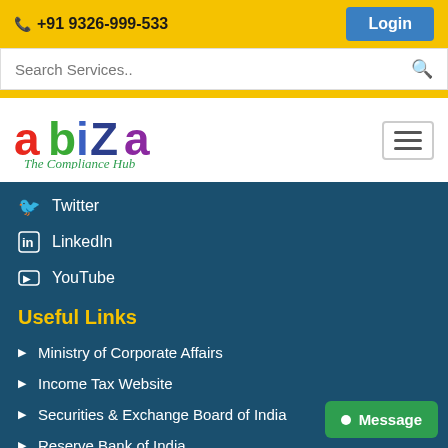📞 +91 9326-999-533  [Login button]
Search Services..
[Figure (logo): Abiza - The Compliance Hub logo with colorful text: 'a' in red, 'b' in green, 'i' with blue dot, 'Z' in blue, 'a' in purple, tagline 'The Compliance Hub' in green italic]
Twitter
LinkedIn
YouTube
Useful Links
Ministry of Corporate Affairs
Income Tax Website
Securities & Exchange Board of India
Reserve Bank of India